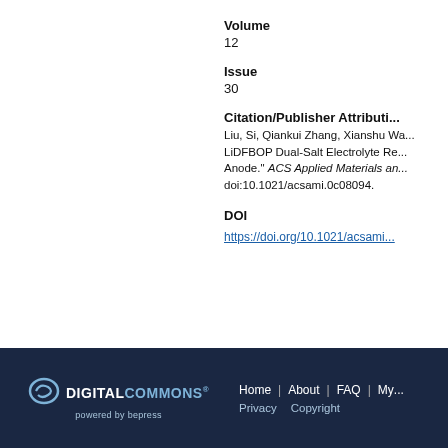Volume
12
Issue
30
Citation/Publisher Attribution
Liu, Si, Qiankui Zhang, Xianshu Wa... LiDFBOP Dual-Salt Electrolyte Re... Anode." ACS Applied Materials an... doi:10.1021/acsami.0c08094.
DOI
https://doi.org/10.1021/acsami...
Digital Commons powered by bepress | Home | About | FAQ | My... | Privacy | Copyright